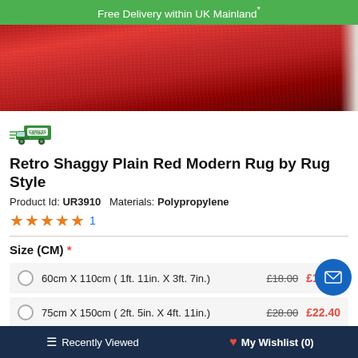Free Delivery within UK Mainland*
[Figure (photo): Close-up photo of a red shaggy rug on a wooden floor, with white edge visible on the right side.]
[Figure (logo): Express Delivery truck icon in green]
Retro Shaggy Plain Red Modern Rug by Rug Style
Product Id: UR3910   Materials: Polypropylene
★★★★★ 1
Size (CM) *
60cm X 110cm ( 1ft. 11in. X 3ft. 7in.)  £18.00  £14.40
75cm X 150cm ( 2ft. 5in. X 4ft. 11in.)  £28.00  £22.40
110cm X 160cm ( 3ft. 7in. X 5ft. 2in.)  £43.00  £34.40
150cm X 210...
≡ Recently Viewed    ❤ My Wishlist (0)